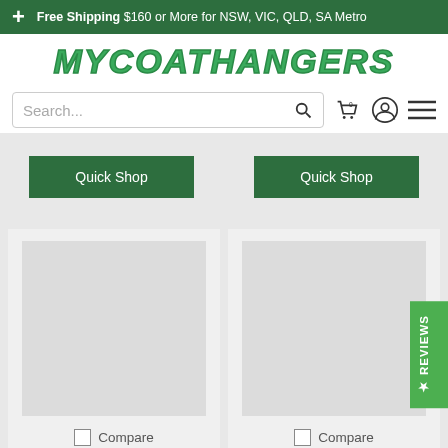Free Shipping $160 or More for NSW, VIC, QLD, SA Metro
MYCOATHANGERS
Search...
[Figure (screenshot): Two Quick Shop buttons for products above the fold]
[Figure (photo): Product image placeholder for 10'' White Wooden product]
[Figure (photo): Product image placeholder for 17'' Slim-Line Grey product]
Compare
10'' White Wooden
Compare
17'' Slim-Line Grey